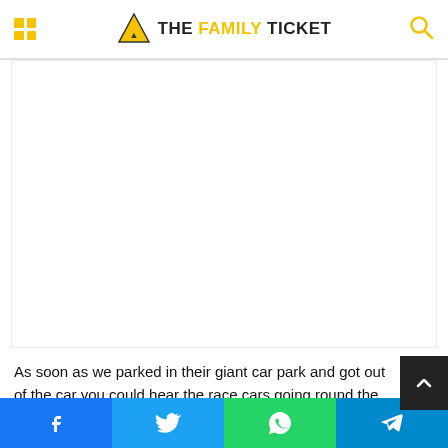THE FAMILY TICKET
[Figure (other): Large white/blank content image area below the header]
As soon as we parked in their giant car park and got out of the car you could hear the race cars going round the track.